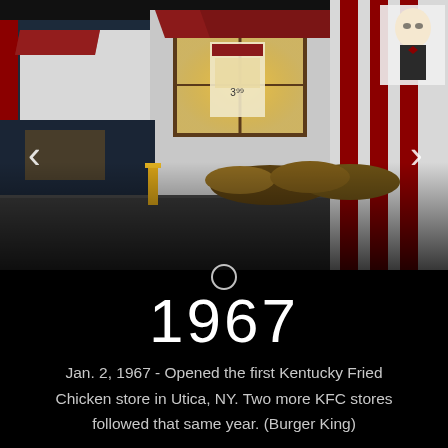[Figure (photo): Exterior photograph of a KFC (Kentucky Fried Chicken) restaurant building at night/dusk, showing the red and white striped facade, red awnings, illuminated windows with menu boards visible inside, yellow bollard in parking lot, and landscaping with shrubs. The Colonel Sanders logo/icon is visible on the right side of the building.]
1967
Jan. 2, 1967 - Opened the first Kentucky Fried Chicken store in Utica, NY. Two more KFC stores followed that same year. (Burger King)